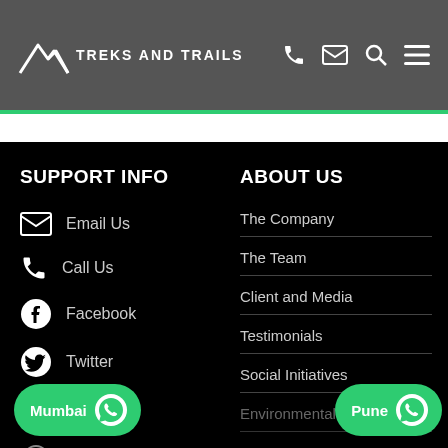TREKS AND TRAILS
SUPPORT INFO
Email Us
Call Us
Facebook
Twitter
Pinterest
Blog
ABOUT US
The Company
The Team
Client and Media
Testimonials
Social Initiatives
Environmental Causes
Mumbai
Pune